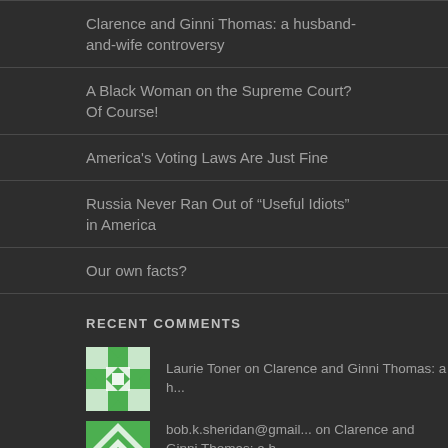Clarence and Ginni Thomas: a husband-and-wife controversy
A Black Woman on the Supreme Court? Of Course!
America's Voting Laws Are Just Fine
Russia Never Ran Out of “Useful Idiots” in America
Our own facts?
RECENT COMMENTS
Laurie Toner on Clarence and Ginni Thomas: a h...
bob.k.sheridan@gmail... on Clarence and Ginni Thomas: a h...